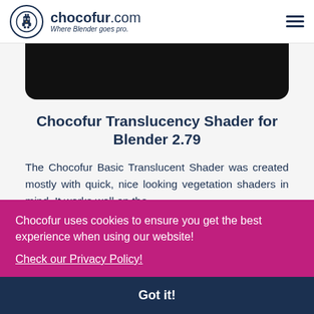chocofur.com — Where Blender goes pro.
[Figure (screenshot): Black rounded image bar at top of content area]
Chocofur Translucency Shader for Blender 2.79
The Chocofur Basic Translucent Shader was created mostly with quick, nice looking vegetation shaders in mind. It works well on the ...fully ...ied.
[Figure (screenshot): Partially visible image strip at bottom showing dark and light content]
Chocofur uses cookies to ensure you get the best experience when using our website!
Check our Privacy Policy!
Got it!